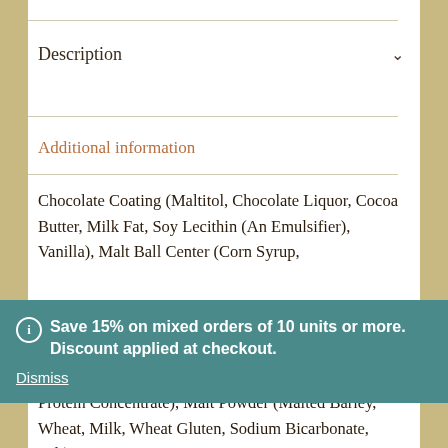Description
Additional information
Chocolate Coating (Maltitol, Chocolate Liquor, Cocoa Butter, Milk Fat, Soy Lecithin (An Emulsifier), Vanilla), Malt Ball Center (Corn Syrup, Confectionery Coating (Sugar, Palm...
Save 15% on mixed orders of 10 units or more. Discount applied at checkout.
Dismiss
...g..., Protein Concentrate), Malt Powder (Malted Barley, Wheat, Milk, Wheat Gluten, Sodium Bicarbonate, Salt)